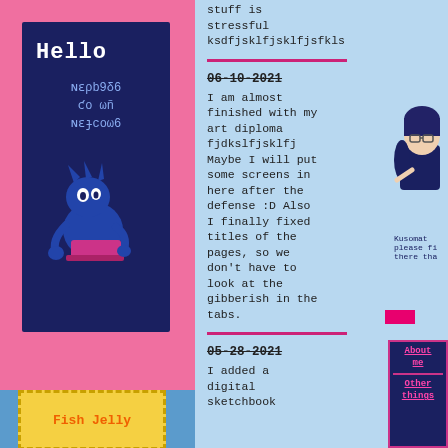[Figure (illustration): Dark blue card with 'Hello' title, decorative symbols, and a blue cartoon character sitting with a pink object]
stuff is stressful ksdfjsklfjsklfjsfkls
06-10-2021
I am almost finished with my art diploma fjdkslfjsklfj Maybe I will put some screens in here after the defense :D Also I finally fixed titles of the pages, so we don't have to look at the gibberish in the tabs.
05-28-2021
I added a digital sketchbook
[Figure (illustration): Anime-style character with glasses leaning over]
Kusomats please fi there tha
[Figure (illustration): Fish Jelly card with yellow dashed border]
About me
Other things